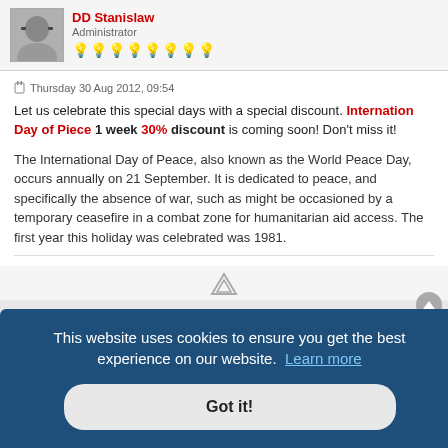DD Stanislaw
Administrator
Thursday 30 Aug 2012, 09:54
Let us celebrate this special days with a special discount. Internation Day of Piece 1 week 30% discount is coming soon! Don't miss it!
The International Day of Peace, also known as the World Peace Day, occurs annually on 21 September. It is dedicated to peace, and specifically the absence of war, such as might be occasioned by a temporary ceasefire in a combat zone for humanitarian aid access. The first year this holiday was celebrated was 1981.
This website uses cookies to ensure you get the best experience on our website. Learn more
Got it!